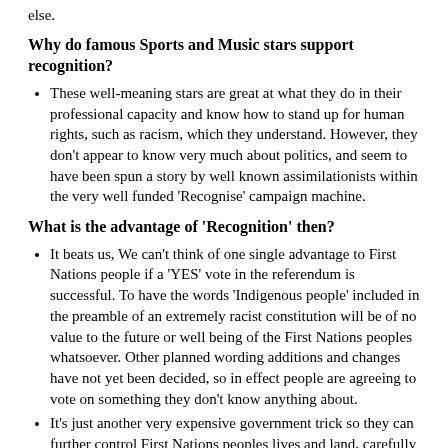else.
Why do famous Sports and Music stars support recognition?
These well-meaning stars are great at what they do in their professional capacity and know how to stand up for human rights, such as racism, which they understand. However, they don't appear to know very much about politics, and seem to have been spun a story by well known assimilationists within the very well funded 'Recognise' campaign machine.
What is the advantage of 'Recognition' then?
It beats us, We can't think of one single advantage to First Nations people if a 'YES' vote in the referendum is successful. To have the words 'Indigenous people' included in the preamble of an extremely racist constitution will be of no value to the future or well being of the First Nations peoples whatsoever. Other planned wording additions and changes have not yet been decided, so in effect people are agreeing to vote on something they don't know anything about.
It's just another very expensive government trick so they can further control First Nations peoples lives and land, carefully